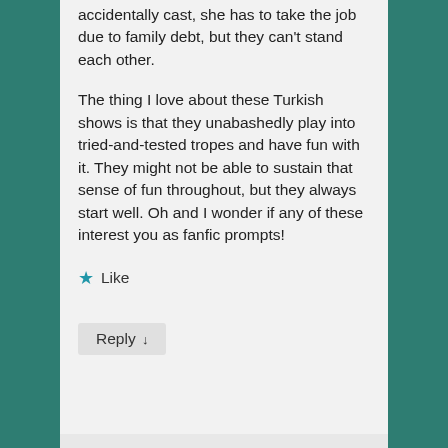accidentally cast, she has to take the job due to family debt, but they can't stand each other.
The thing I love about these Turkish shows is that they unabashedly play into tried-and-tested tropes and have fun with it. They might not be able to sustain that sense of fun throughout, but they always start well. Oh and I wonder if any of these interest you as fanfic prompts!
Like
Reply ↓